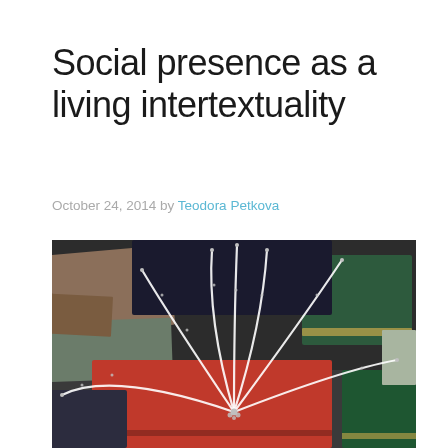Social presence as a living intertextuality
October 24, 2014 by Teodora Petkova
[Figure (photo): A collection of stacked books in various colors including red, green, brown, and dark blue/black, with multiple white twisted wire or cord strands arching up from a central point on a red book, resembling a fountain or plant branches, connected by small silver beads at the base.]